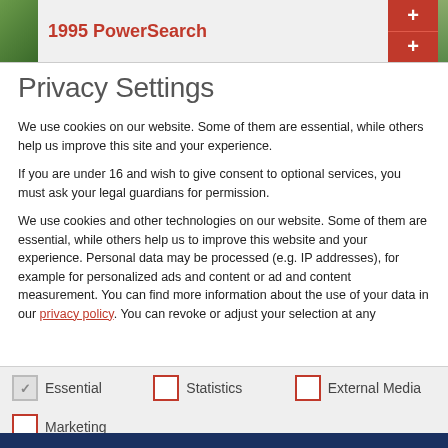1995 PowerSearch
Privacy Settings
We use cookies on our website. Some of them are essential, while others help us improve this site and your experience.
If you are under 16 and wish to give consent to optional services, you must ask your legal guardians for permission.
We use cookies and other technologies on our website. Some of them are essential, while others help us to improve this website and your experience. Personal data may be processed (e.g. IP addresses), for example for personalized ads and content or ad and content measurement. You can find more information about the use of your data in our privacy policy. You can revoke or adjust your selection at any
Essential
Statistics
External Media
Marketing